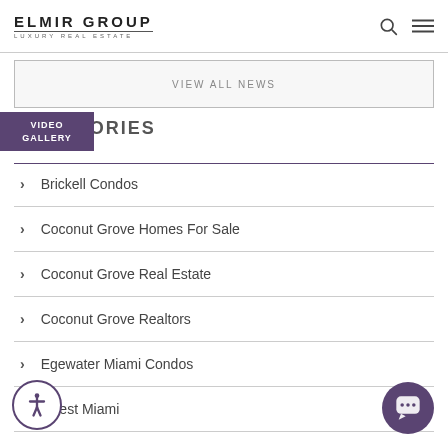ELMIR GROUP LUXURY REAL ESTATE
VIEW ALL NEWS
VIDEO GALLERY
CATEGORIES
Brickell Condos
Coconut Grove Homes For Sale
Coconut Grove Real Estate
Coconut Grove Realtors
Egewater Miami Condos
Invest Miami